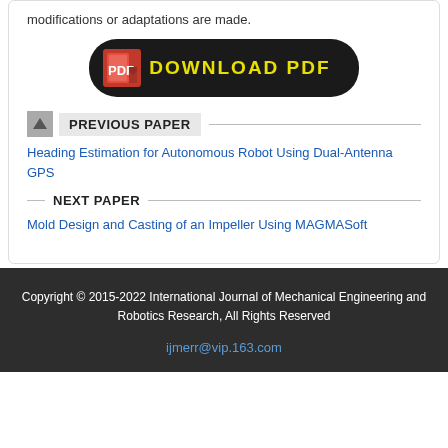modifications or adaptations are made.
[Figure (other): Download PDF button with red PDF icon and yellow text on dark background]
PREVIOUS PAPER
Heading Estimation for Autonomous Robot Using Dual-Antenna GPS
NEXT PAPER
Mold Design and Casting of an Impeller Using MAGMASoft
Copyright © 2015-2022 International Journal of Mechanical Engineering and Robotics Research, All Rights Reserved
ijmerr@vip.163.com